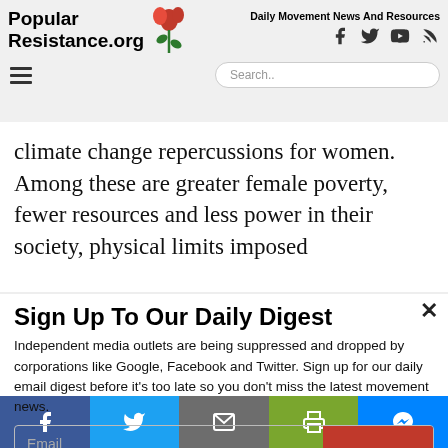Popular Resistance.org — Daily Movement News And Resources
climate change repercussions for women. Among these are greater female poverty, fewer resources and less power in their society, physical limits imposed
Sign Up To Our Daily Digest
Independent media outlets are being suppressed and dropped by corporations like Google, Facebook and Twitter. Sign up for our daily email digest before it's too late so you don't miss the latest movement news.
Email